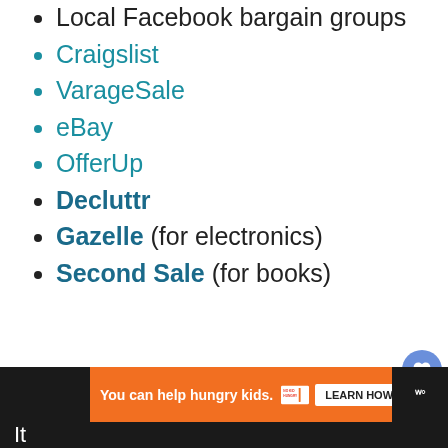Local Facebook bargain groups
Craigslist
VarageSale
eBay
OfferUp
Decluttr
Gazelle (for electronics)
Second Sale (for books)
Think you can’t make money flipping things for cash?
[Figure (other): Advertisement banner: orange background with text 'You can help hungry kids.' with No Kid Hungry logo and 'LEARN HOW' button]
It